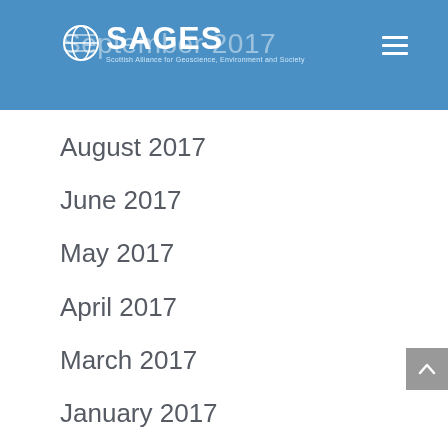SAGES — Scottish Alliance for Geoscience, Environment and Society
September 2017
August 2017
June 2017
May 2017
April 2017
March 2017
January 2017
December 2016